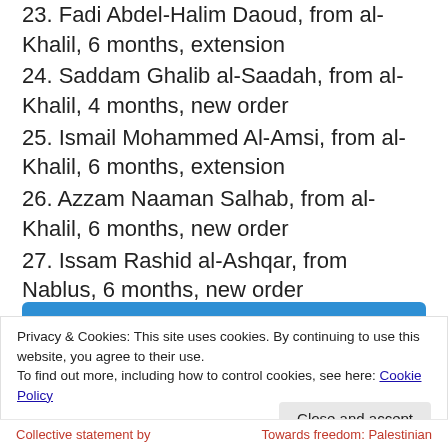23. Fadi Abdel-Halim Daoud, from al-Khalil, 6 months, extension
24. Saddam Ghalib al-Saadah, from al-Khalil, 4 months, new order
25. Ismail Mohammed Al-Amsi, from al-Khalil, 6 months, extension
26. Azzam Naaman Salhab, from al-Khalil, 6 months, new order
27. Issam Rashid al-Ashqar, from Nablus, 6 months, new order
Privacy & Cookies: This site uses cookies. By continuing to use this website, you agree to their use. To find out more, including how to control cookies, see here: Cookie Policy
Collective statement by | Towards freedom: Palestinian